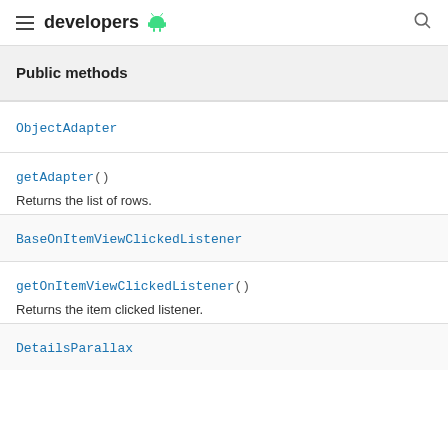developers
Public methods
ObjectAdapter
getAdapter()
Returns the list of rows.
BaseOnItemViewClickedListener
getOnItemViewClickedListener()
Returns the item clicked listener.
DetailsParallax